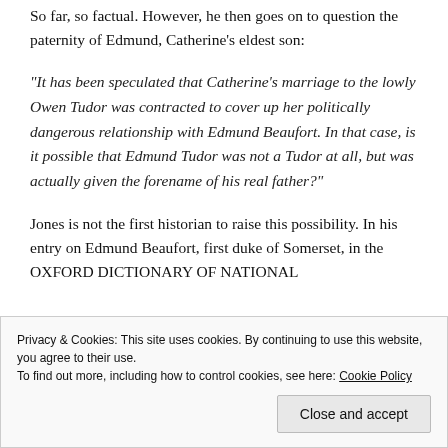So far, so factual. However, he then goes on to question the paternity of Edmund, Catherine's eldest son:
“It has been speculated that Catherine’s marriage to the lowly Owen Tudor was contracted to cover up her politically dangerous relationship with Edmund Beaufort. In that case, is it possible that Edmund Tudor was not a Tudor at all, but was actually given the forename of his real father?”
Jones is not the first historian to raise this possibility. In his entry on Edmund Beaufort, first duke of Somerset, in the OXFORD DICTIONARY OF NATIONAL
Privacy & Cookies: This site uses cookies. By continuing to use this website, you agree to their use.
To find out more, including how to control cookies, see here: Cookie Policy
Close and accept